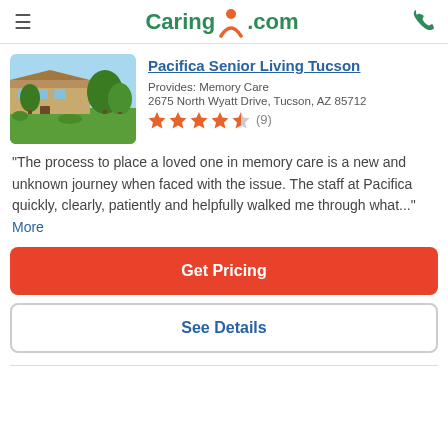Caring.com
Pacifica Senior Living Tucson
Provides: Memory Care
2675 North Wyatt Drive, Tucson, AZ 85712
[Figure (other): 4.5-star rating with 9 reviews]
[Figure (photo): Exterior photo of Pacifica Senior Living Tucson showing a low building with landscaped green lawn and trees]
"The process to place a loved one in memory care is a new and unknown journey when faced with the issue. The staff at Pacifica quickly, clearly, patiently and helpfully walked me through what..." More
Get Pricing
See Details